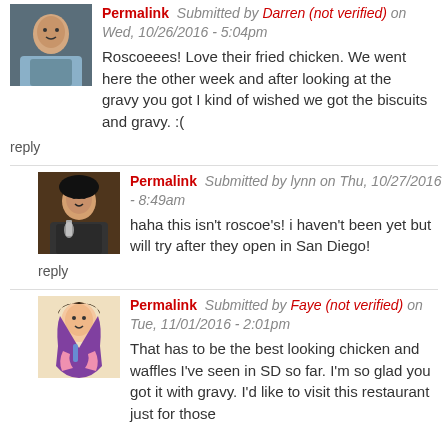Permalink Submitted by Darren (not verified) on Wed, 10/26/2016 - 5:04pm
Roscoeees! Love their fried chicken. We went here the other week and after looking at the gravy you got I kind of wished we got the biscuits and gravy. :(
reply
Permalink Submitted by lynn on Thu, 10/27/2016 - 8:49am
haha this isn't roscoe's! i haven't been yet but will try after they open in San Diego!
reply
Permalink Submitted by Faye (not verified) on Tue, 11/01/2016 - 2:01pm
That has to be the best looking chicken and waffles I've seen in SD so far. I'm so glad you got it with gravy. I'd like to visit this restaurant just for those